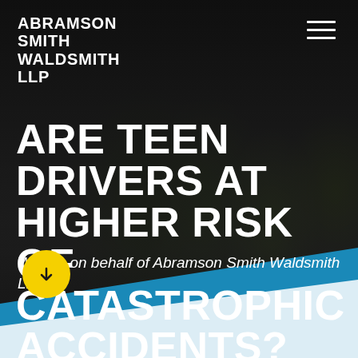ABRAMSON SMITH WALDSMITH LLP
ARE TEEN DRIVERS AT HIGHER RISK OF CATASTROPHIC ACCIDENTS?
Written on behalf of Abramson Smith Waldsmith LLP
[Figure (illustration): Yellow circle button with a downward arrow icon]